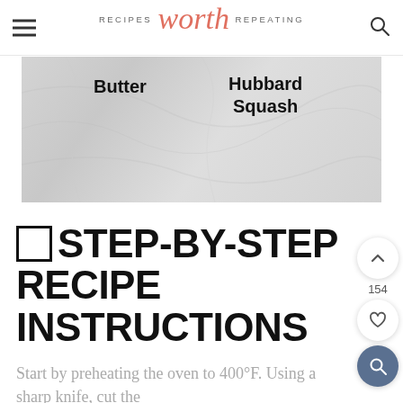RECIPES worth REPEATING
[Figure (photo): Photo of ingredients on a marble surface with labels: Butter and Hubbard Squash]
□ STEP-BY-STEP RECIPE INSTRUCTIONS
Start by preheating the oven to 400°F. Using a sharp knife, cut the